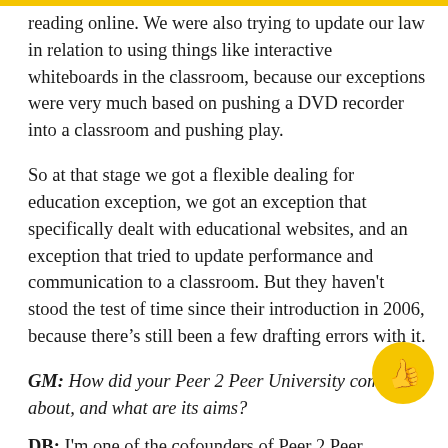reading online. We were also trying to update our law in relation to using things like interactive whiteboards in the classroom, because our exceptions were very much based on pushing a DVD recorder into a classroom and pushing play.
So at that stage we got a flexible dealing for education exception, we got an exception that specifically dealt with educational websites, and an exception that tried to update performance and communication to a classroom. But they haven't stood the test of time since their introduction in 2006, because there's still been a few drafting errors with it.
GM: How did your Peer 2 Peer University come about, and what are its aims?
DB: I'm one of the cofounders of Peer 2 Peer University